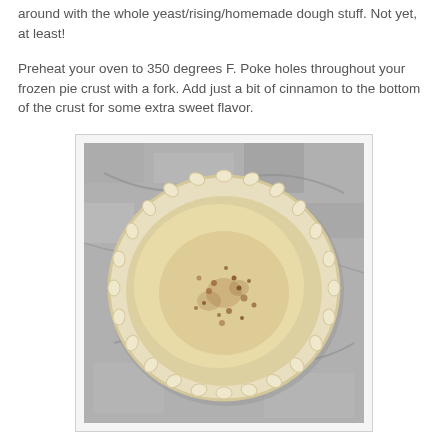around with the whole yeast/rising/homemade dough stuff. Not yet, at least!
Preheat your oven to 350 degrees F. Poke holes throughout your frozen pie crust with a fork. Add just a bit of cinnamon to the bottom of the crust for some extra sweet flavor.
[Figure (photo): Top-down photo of an unbaked frozen pie crust in a fluted pie tin, sitting on a granite countertop. The crust is pale/cream colored with a crimped edge, and cinnamon has been sprinkled on the bottom of the crust.]
Bake for 8 – 10 minutes, until just golden brown.